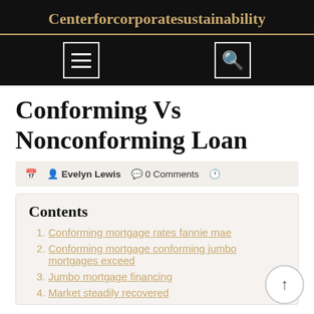Centerforcorporatesustainability
Conforming Vs Nonconforming Loan
Evelyn Lewis · 0 Comments
Contents
1. Conforming mortgage rates fannie mae
2. Conforming mortgage conforming jumbo mortgages exceed
3. Jumbo mortgage financing
4. Market steadily recovered